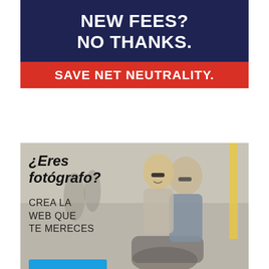[Figure (infographic): Net neutrality advertisement banner. Dark navy blue background with bold white text 'NEW FEES? NO THANKS.' followed by a red banner with white bold text 'SAVE NET NEUTRALITY.']
[Figure (infographic): Spanish-language web service advertisement showing a couple on a scooter. Text reads '¿Eres fotógrafo?' and 'CREA LA WEB QUE TE MERECES' with a blue call-to-action button partially visible.]